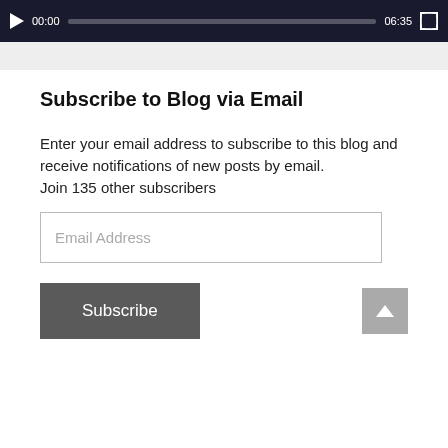[Figure (screenshot): Video player control bar showing play button, time 00:00, progress bar, total time 06:35, and fullscreen button on dark background]
Subscribe to Blog via Email
Enter your email address to subscribe to this blog and receive notifications of new posts by email.
Join 135 other subscribers
Email Address
Subscribe